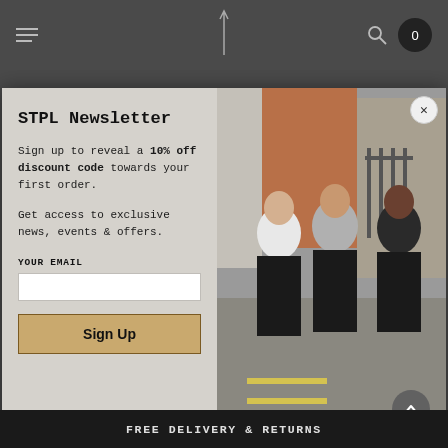STPL navigation bar with hamburger menu, logo, search and cart (0)
STPL Newsletter
Sign up to reveal a 10% off discount code towards your first order.
Get access to exclusive news, events & offers.
YOUR EMAIL
[Figure (photo): Three men walking together on a cobblestone street in a city, wearing casual t-shirts. A red brick building and iron railings are visible in the background.]
Sign Up
Become an Ambassador
FREE DELIVERY & RETURNS